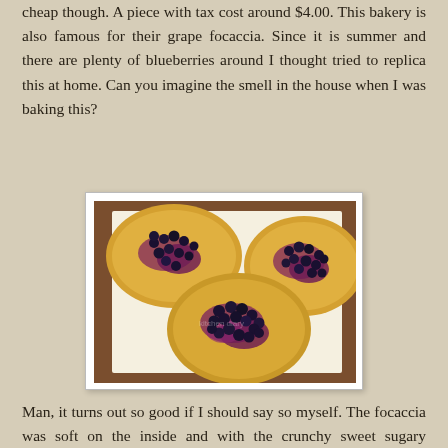cheap though. A piece with tax cost around $4.00. This bakery is also famous for their grape focaccia. Since it is summer and there are plenty of blueberries around I thought tried to replica this at home. Can you imagine the smell in the house when I was baking this?
[Figure (photo): Photo of several round blueberry focaccia breads on parchment paper on a wooden board. The focaccias are golden-yellow with dark blueberries on top and purple berry juice running through them.]
Man, it turns out so good if I should say so myself. The focaccia was soft on the inside and with the crunchy sweet sugary topping, I was hooked. I gave a few away and my friends love it too. I am planning to bake this again but it will be with grapes. I think this would be perfect to serve for